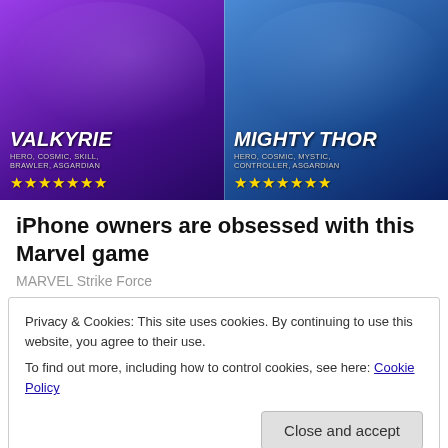[Figure (illustration): Marvel Strike Force game advertisement showing Valkyrie (left) with attributes HERO, COSMIC, SKILL, BRAWLER, ASGARDIAN and 7 gold stars, and Mighty Thor (right) with attributes HERO, COSMIC, MYSTIC, CONTROLLER, ASGARDIAN and 7 gold stars, against a purple/blue cosmic background.]
iPhone owners are obsessed with this Marvel game
MARVEL Strike Force
Privacy & Cookies: This site uses cookies. By continuing to use this website, you agree to their use.
To find out more, including how to control cookies, see here: Cookie Policy
Close and accept